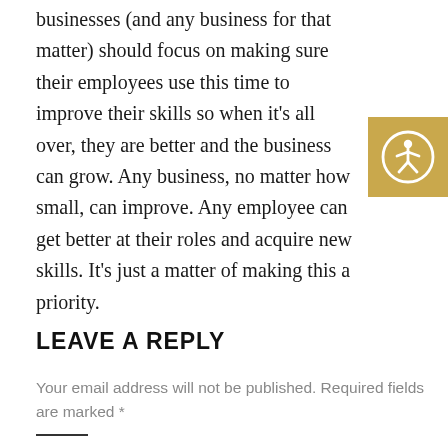businesses (and any business for that matter) should focus on making sure their employees use this time to improve their skills so when it's all over, they are better and the business can grow. Any business, no matter how small, can improve. Any employee can get better at their roles and acquire new skills. It's just a matter of making this a priority.
[Figure (other): Accessibility icon: a gold/tan square with a white circle outline containing a simple human figure (person with arms and legs spread) — an accessibility/disability symbol.]
LEAVE A REPLY
Your email address will not be published. Required fields are marked *